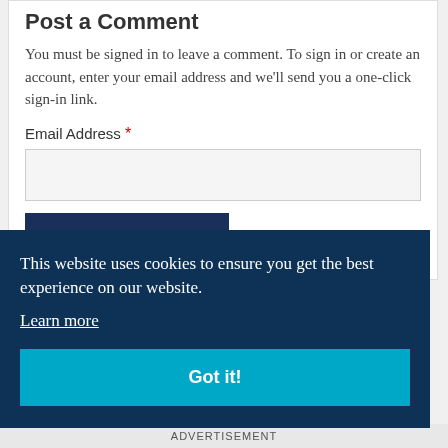Post a Comment
You must be signed in to leave a comment. To sign in or create an account, enter your email address and we'll send you a one-click sign-in link.
Email Address *
[Figure (screenshot): Empty email input field with light gray background]
[Figure (screenshot): CONTINUE button with dark navy background and white bold uppercase text]
This website uses cookies to ensure you get the best experience on our website. Learn more
[Figure (screenshot): Got it! button with teal/cyan background]
ADVERTISEMENT